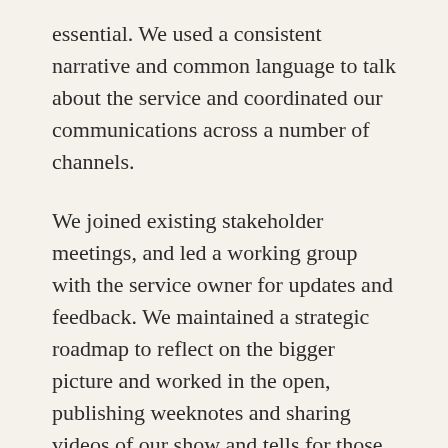essential. We used a consistent narrative and common language to talk about the service and coordinated our communications across a number of channels.
We joined existing stakeholder meetings, and led a working group with the service owner for updates and feedback. We maintained a strategic roadmap to reflect on the bigger picture and worked in the open, publishing weeknotes and sharing videos of our show and tells for those unable to attend in person. As we approached going live, we shared 2–3 minute easy to understand videos to explain the service to a wider audience.
Having established open communications, d...